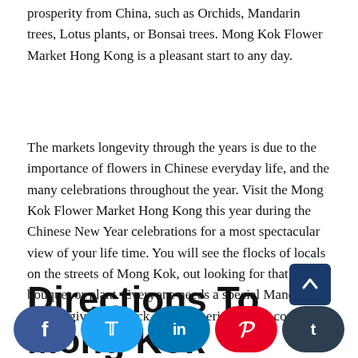prosperity from China, such as Orchids, Mandarin trees, Lotus plants, or Bonsai trees. Mong Kok Flower Market Hong Kong is a pleasant start to any day.
The markets longevity through the years is due to the importance of flowers in Chinese everyday life, and the many celebrations throughout the year. Visit the Mong Kok Flower Market Hong Kong this year during the Chinese New Year celebrations for a most spectacular view of your life time. You will see the flocks of locals on the streets of Mong Kok, out looking for that special bouquet or plant. Everyone needs a special Mandarin Tree to give them luck and prosperity for the coming year!
Directions To Mong Kok Flower Market Hong